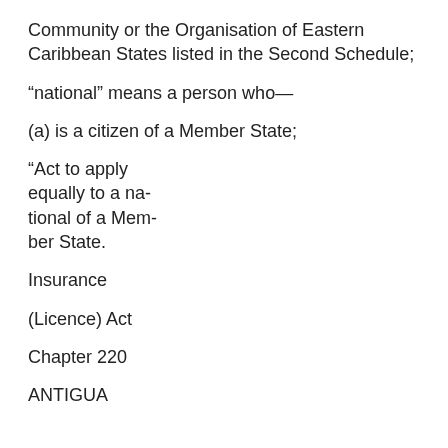Community or the Organisation of Eastern Caribbean States listed in the Second Schedule;
“national” means a person who—
(a) is a citizen of a Member State;
“Act to apply equally to a na-tional of a Mem-ber State.
Insurance
(Licence) Act
Chapter 220
ANTIGUA